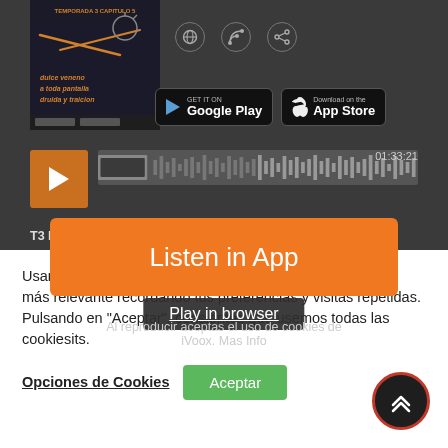[Figure (screenshot): Top section of a podcast web player (iVoox) with dark background showing podcast thumbnail, app store buttons (Google Play, App Store), audio player with orange thumbnail and waveform, episode list items, and an orange 'Listen in App' button overlay with 'Play in browser' text below.]
T3 Ep5: Black friday, Star Citizen, Opera y dildos
T3 Ep4: Steam Deck se retrasa, llegan los Game Awards y los remasters de GTA apest...
Al reproducir aceptas el uso de cookies de iVoox. Mas Info
T3 Ep3: Los juegos Blockchain y NFT son el futuro según EA, pero Steam los prohíbe
Usamos cookies en nuestra web para darte la experiencia más relevante recordando tus preferencias y visitas repetidas. Pulsando en "Aceptar", consientes que usemos todas las cookiesits.
Opciones de Cookies
Aceptar